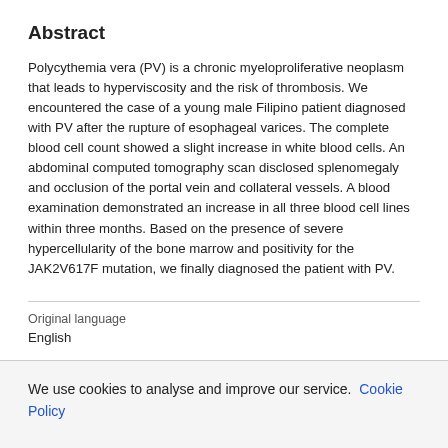Abstract
Polycythemia vera (PV) is a chronic myeloproliferative neoplasm that leads to hyperviscosity and the risk of thrombosis. We encountered the case of a young male Filipino patient diagnosed with PV after the rupture of esophageal varices. The complete blood cell count showed a slight increase in white blood cells. An abdominal computed tomography scan disclosed splenomegaly and occlusion of the portal vein and collateral vessels. A blood examination demonstrated an increase in all three blood cell lines within three months. Based on the presence of severe hypercellularity of the bone marrow and positivity for the JAK2V617F mutation, we finally diagnosed the patient with PV.
Original language
English
We use cookies to analyse and improve our service. Cookie Policy